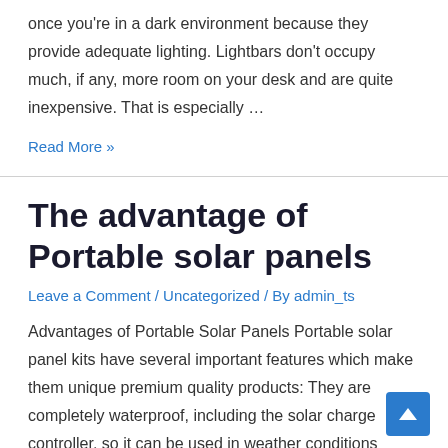once you're in a dark environment because they provide adequate lighting. Lightbars don't occupy much, if any, more room on your desk and are quite inexpensive. That is especially …
Read More »
The advantage of Portable solar panels
Leave a Comment / Uncategorized / By admin_ts
Advantages of Portable Solar Panels Portable solar panel kits have several important features which make them unique premium quality products: They are completely waterproof, including the solar charge controller, so it can be used in weather conditions Folding Monocrystalline solar panels are made of high quality solar cells which can offer high